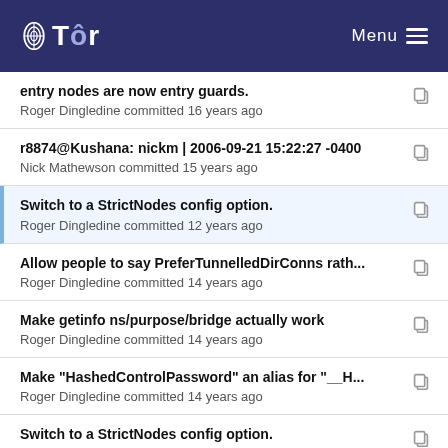Tor Menu
entry nodes are now entry guards.
Roger Dingledine committed 16 years ago
r8874@Kushana: nickm | 2006-09-21 15:22:27 -0400
Nick Mathewson committed 15 years ago
Switch to a StrictNodes config option.
Roger Dingledine committed 12 years ago
Allow people to say PreferTunnelledDirConns rath...
Roger Dingledine committed 14 years ago
Make getinfo ns/purpose/bridge actually work
Roger Dingledine committed 14 years ago
Make "HashedControlPassword" an alias for "__H...
Roger Dingledine committed 14 years ago
Switch to a StrictNodes config option.